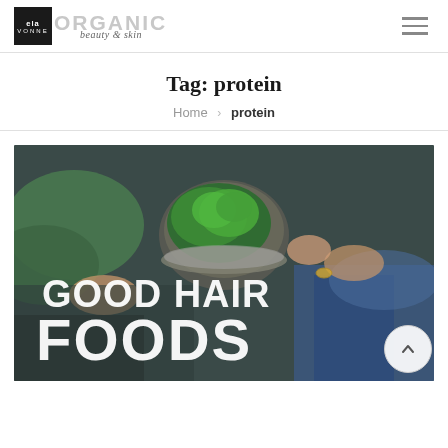ela VONNE ORGANIC beauty & skin — navigation header
Tag: protein
Home > protein
[Figure (photo): Overhead photo of two people lying down holding a bowl of green salad/vegetables, with large white text overlaid reading 'GOOD HAIR FOODS']